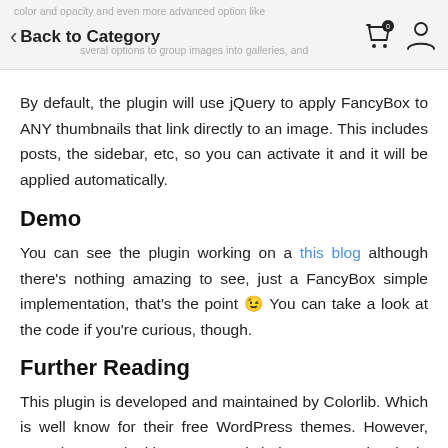Back to Category
By default, the plugin will use jQuery to apply FancyBox to ANY thumbnails that link directly to an image. This includes posts, the sidebar, etc, so you can activate it and it will be applied automatically.
Demo
You can see the plugin working on a this blog although there's nothing amazing to see, just a FancyBox simple implementation, that's the point 😉 You can take a look at the code if you're curious, though.
Further Reading
This plugin is developed and maintained by Colorlib. Which is well know for their free WordPress themes. However, now they are looking to extend their presence in plugin development and believe that FancyBox lightbox is a great way to start.